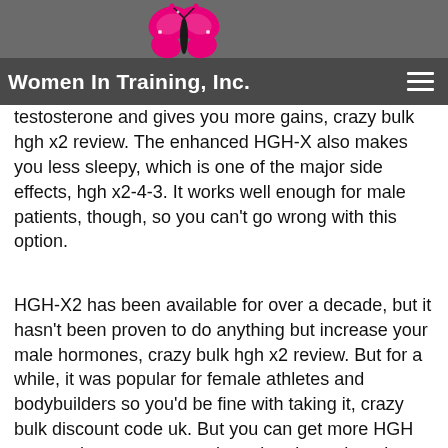Women In Training, Inc.
Unfortunately, the "enhanced HGH-X" is more like ads. It says it doesn't increase your testosterone, but instead increases your "testosterone-receptor (TRP) activation" which is what really increases your testosterone and gives you more gains, crazy bulk hgh x2 review. The enhanced HGH-X also makes you less sleepy, which is one of the major side effects, hgh x2-4-3. It works well enough for male patients, though, so you can't go wrong with this option.
HGH-X2 has been available for over a decade, but it hasn't been proven to do anything but increase your male hormones, crazy bulk hgh x2 review. But for a while, it was popular for female athletes and bodybuilders so you'd be fine with taking it, crazy bulk discount code uk. But you can get more HGH or get other testosterone-boosting drugs that also cause more gains